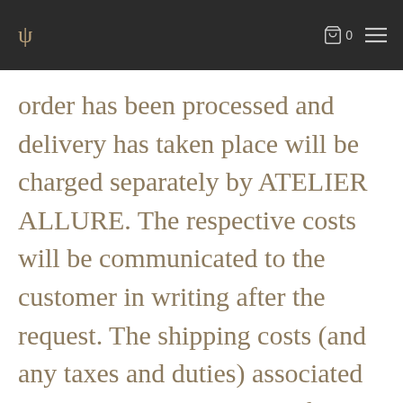ψ  0  ≡
order has been processed and delivery has taken place will be charged separately by ATELIER ALLURE. The respective costs will be communicated to the customer in writing after the request. The shipping costs (and any taxes and duties) associated with the implementation of the change are to